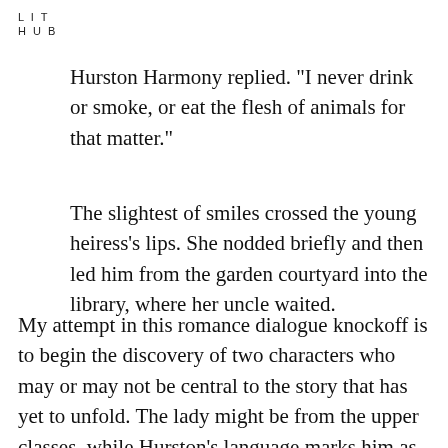LIT
HUB
Hurston Harmony replied. “I never drink or smoke, or eat the flesh of animals for that matter.”
The slightest of smiles crossed the young heiress’s lips. She nodded briefly and then led him from the garden courtyard into the library, where her uncle waited.
My attempt in this romance dialogue knockoff is to begin the discovery of two characters who may or may not be central to the story that has yet to unfold. The lady might be from the upper classes, while Hurston’s language marks him as